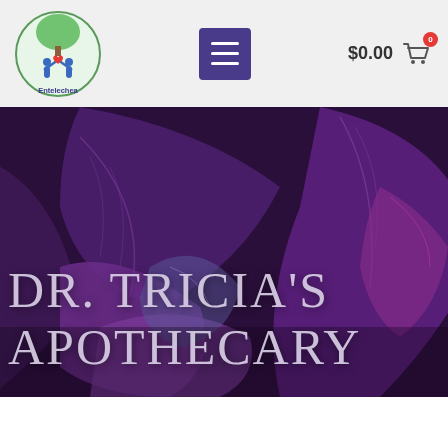[Figure (logo): Entelechea circular logo with green tree, blue human figures, and red heart]
[Figure (other): Purple hamburger menu button icon with three white horizontal lines]
$0.00
[Figure (other): Shopping cart icon with red badge showing 0]
[Figure (photo): Close-up photo of dark purple/violet leaves used as hero banner background]
DR. TRICIA'S APOTHECARY